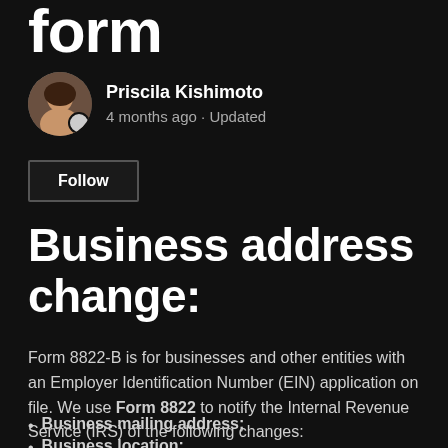form
Priscila Kishimoto
4 months ago · Updated
Follow
Business address change:
Form 8822-B is for businesses and other entities with an Employer Identification Number (EIN) application on file. We use Form 8822 to notify the Internal Revenue Service (IRS) of the following changes:
Business mailing address;
Business location: